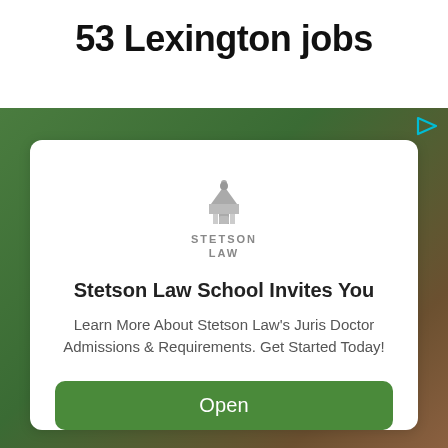53 Lexington jobs
[Figure (screenshot): Advertisement card for Stetson Law School with green background, white modal card containing Stetson Law logo, headline 'Stetson Law School Invites You', body text 'Learn More About Stetson Law's Juris Doctor Admissions & Requirements. Get Started Today!' and a green 'Open' button. A play/ad indicator icon appears in top-right of the ad area.]